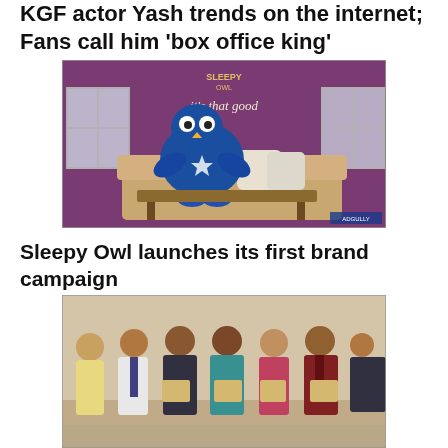KGF actor Yash trends on the internet; Fans call him 'box office king'
[Figure (photo): A blue owl mascot (Sleepy Owl) lying on a sofa in a room. Behind it is a purple wall with text 'it's that good'. The scene is a living room setting with decorative pillows and windows on either side.]
Sleepy Owl launches its first brand campaign
[Figure (photo): A group of several people standing together in a formal setting, holding documents or folders, appearing to be at a signing or launch ceremony event. The group includes men and women of varied attire including formal and traditional Indian dress.]